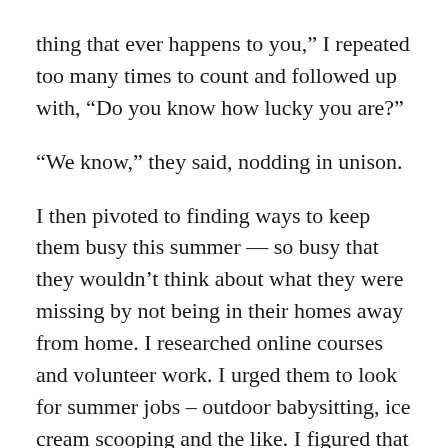thing that ever happens to you,” I repeated too many times to count and followed up with, “Do you know how lucky you are?”
“We know,” they said, nodding in unison.
I then pivoted to finding ways to keep them busy this summer — so busy that they wouldn’t think about what they were missing by not being in their homes away from home. I researched online courses and volunteer work. I urged them to look for summer jobs – outdoor babysitting, ice cream scooping and the like. I figured that if their days and nights were filled with activity, then they would forgot about camp.